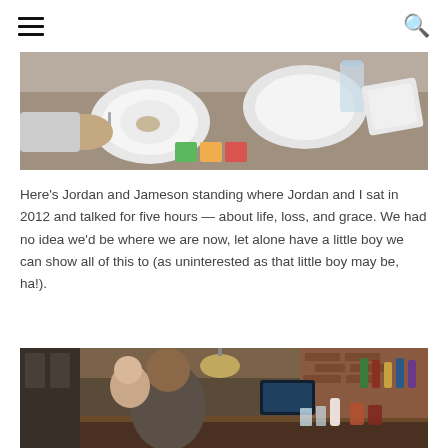[Figure (photo): Close-up of a table with white plates and bowls, children's colorful toy blocks, and utensils — a messy meal scene.]
Here's Jordan and Jameson standing where Jordan and I sat in 2012 and talked for five hours — about life, loss, and grace. We had no idea we'd be where we are now, let alone have a little boy we can show all of this to (as uninterested as that little boy may be, ha!).
[Figure (photo): A man holding a baby stands in front of a restaurant bar with pendant lights, a brick wall, liquor bottles, and glassware on the counter.]